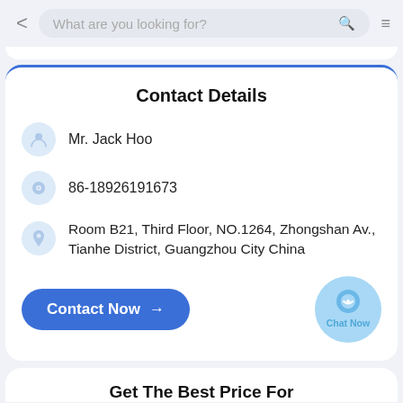What are you looking for?
Contact Details
Mr. Jack Hoo
86-18926191673
Room B21, Third Floor, NO.1264, Zhongshan Av., Tianhe District, Guangzhou City China
Contact Now →
Chat Now
Get The Best Price For